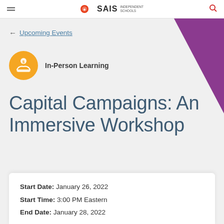SAIS INDEPENDENT SCHOOLS
← Upcoming Events
[Figure (logo): Orange circle icon with a hand holding a coin plant, representing In-Person Learning category]
In-Person Learning
Capital Campaigns: An Immersive Workshop
Start Date: January 26, 2022
Start Time: 3:00 PM Eastern
End Date: January 28, 2022